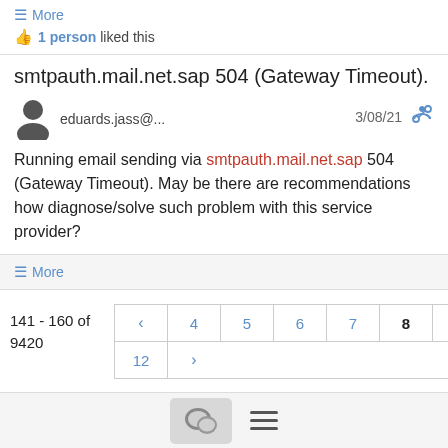≡ More
👍 1 person liked this
smtpauth.mail.net.sap 504 (Gateway Timeout).
eduards.jass@...
3/08/21
Running email sending via smtpauth.mail.net.sap 504 (Gateway Timeout). May be there are recommendations how diagnose/solve such problem with this service provider?
≡ More
141 - 160 of 9420
Pagination: 4 5 6 7 8 9 10 11 12